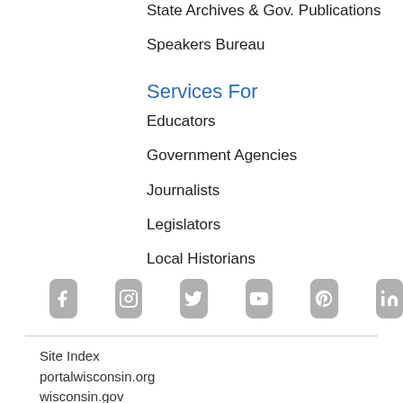State Archives & Gov. Publications
Speakers Bureau
Services For
Educators
Government Agencies
Journalists
Legislators
Local Historians
[Figure (other): Social media icons: Facebook, Instagram, Twitter, YouTube, Pinterest, LinkedIn]
Site Index
portalwisconsin.org
wisconsin.gov
© 1996-2022 Wisconsin Historical Society, 816 State